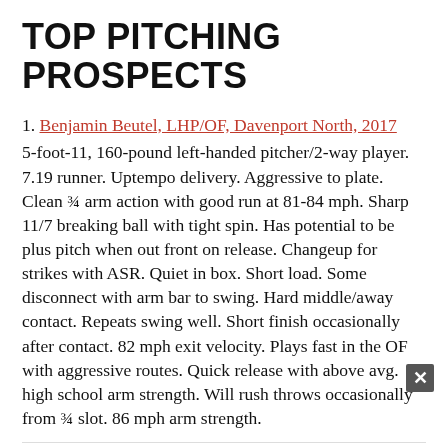TOP PITCHING PROSPECTS
1. Benjamin Beutel, LHP/OF, Davenport North, 2017
5-foot-11, 160-pound left-handed pitcher/2-way player. 7.19 runner. Uptempo delivery. Aggressive to plate. Clean ¾ arm action with good run at 81-84 mph. Sharp 11/7 breaking ball with tight spin. Has potential to be plus pitch when out front on release. Changeup for strikes with ASR. Quiet in box. Short load. Some disconnect with arm bar to swing. Hard middle/away contact. Repeats swing well. Short finish occasionally after contact. 82 mph exit velocity. Plays fast in the OF with aggressive routes. Quick release with above avg. high school arm strength. Will rush throws occasionally from ¾ slot. 86 mph arm strength.
2. Danny Kapala, LHP, Eastview (MN), 2017
6-foot-3, 190-pound left-handed pitcher. Projectable frame on mound. Uptempo delivery. Lands slightly